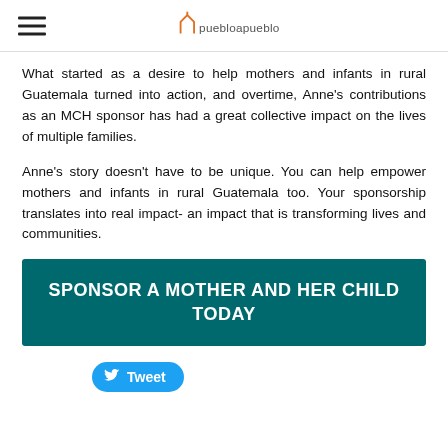puebloapueblo [logo]
What started as a desire to help mothers and infants in rural Guatemala turned into action, and overtime, Anne's contributions as an MCH sponsor has had a great collective impact on the lives of multiple families.
Anne's story doesn't have to be unique. You can help empower mothers and infants in rural Guatemala too. Your sponsorship translates into real impact- an impact that is transforming lives and communities.
SPONSOR A MOTHER AND HER CHILD TODAY
Tweet